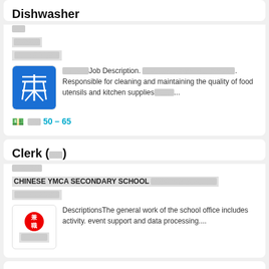Dishwasher
[redacted tags]
[redacted company]
[redacted date]
[redacted] Job Description. [redacted]. Responsible for cleaning and maintaining the quality of food utensils and kitchen supplies[redacted]...
[salary icon] [redacted] 50 - 65
Clerk (文員)
[redacted tags]
CHINESE YMCA SECONDARY SCHOOL [redacted]
[redacted date]
DescriptionsThe general work of the school office includes activity. event support and data processing....
Full-Time Waiter/Waitress [redacted]